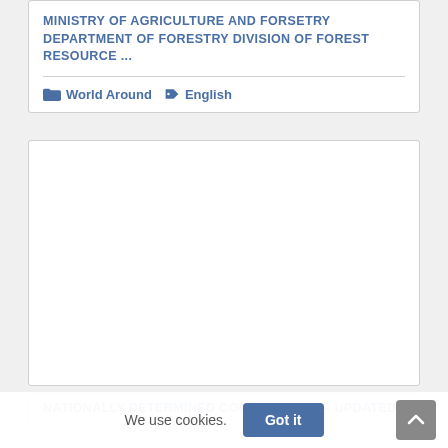MINISTRY OF AGRICULTURE AND FORSETRY DEPARTMENT OF FORESTRY DIVISION OF FOREST RESOURCE ...
World Around   English
[Figure (other): Blank white card / placeholder image area]
NATIONALLY DETERMINED CONTRIBUTION – UPDATED
We use cookies.